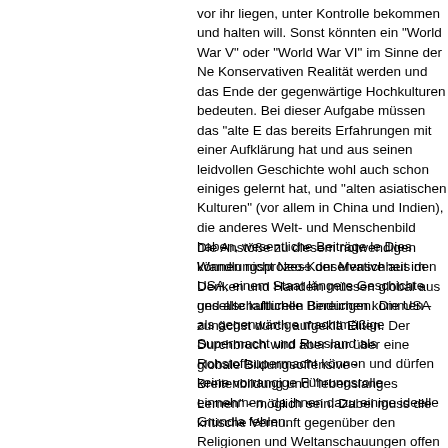vor ihr liegen, unter Kontrolle bekommen und halten will. Sonst könnten ein "World War V" oder "World War VI" im Sinne der Neo-Konservativen Realität werden und das Ende der gegenwärtigen Hochkulturen bedeuten. Bei dieser Aufgabe müssen das "alte Europa", das bereits Erfahrungen mit einer Aufklärung hat und aus seinen leidvollen Geschichte wohl auch schon einiges gelernt hat, und die "alten asiatischen Kulturen" (vor allem in China und Indien), die ein anderes Welt- und Menschenbild haben, wesentliche Beiträge leisten. Dies können nicht Neo-Konservative aus den USA, einem Staat ohne längere Geschichte und alte kulturelle Bindungen. Die USA als gegenwärtige machtmäßige Supermacht und Russland als Rohstoffsupermacht können und dürfen keine vorrangige Führungsrolle einnehmen, da ihnen dazu einige ideelle Grundlagen fehlen.
Die Anstöße zu diesem notwendigen Wandlungsprozess der Menschheit im Denken und Handeln müssen global aus gesellschaftlichen Bereichen kommen - zunächst durch aufgeklärte Eliten. Der Durchbruch wird aber nur über eine globale Bildungsoffensive - Breitenbildung und "lebenslanges Lernen" - möglich sein. Dabei muss die kritische Vernunft gegenüber den Religionen und Weltanschauungen offen sein und müssen die Religionen und Weltanschauungen sich gegenüber der Vernunft öffnen. Hierzu bieten die neuen Informations- und Kommunikationssysteme, über die die Menschheit jetzt global verfügt, eine hoffnungsvolle Voraussetzung, falls die Systeme global zur Verfügung stehen und von allen Menschen genutzt werden können. In dieser Hinsicht ist auch der Aufbau eines "Global Elite Network" sinnvoll - nicht aber als Propagandainstrument für die Interessendurchsetzung der USA.